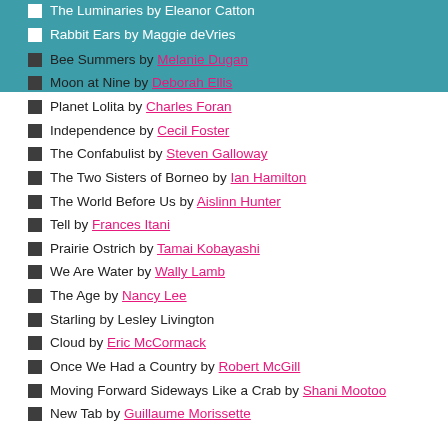The Luminaries by Eleanor Catton
Rabbit Ears by Maggie deVries
Bee Summers by Melanie Dugan
Moon at Nine by Deborah Ellis
Planet Lolita by Charles Foran
Independence by Cecil Foster
The Confabulist by Steven Galloway
The Two Sisters of Borneo by Ian Hamilton
The World Before Us by Aislinn Hunter
Tell by Frances Itani
Prairie Ostrich by Tamai Kobayashi
We Are Water by Wally Lamb
The Age by Nancy Lee
Starling by Lesley Livington
Cloud by Eric McCormack
Once We Had a Country by Robert McGill
Moving Forward Sideways Like a Crab by Shani Mootoo
New Tab by Guillaume Morissette